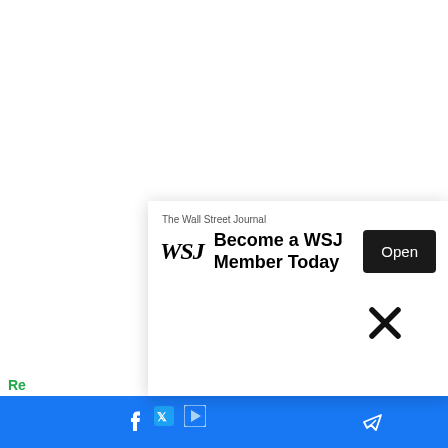[Figure (screenshot): White blank area occupying the upper two-thirds of the page, representing a webpage background]
[Figure (screenshot): Close/dismiss X button (black X icon) in the upper-right area of an ad popup overlay]
[Figure (screenshot): WSJ advertisement popup: shows WSJ logo, text 'The Wall Street Journal', headline 'Become a WSJ Member Today', and a dark 'Open' button]
Re
nts
[Figure (screenshot): Bottom social sharing bar with Facebook icon (blue background), X (Twitter) icon, and a play/media icon, plus a Telegram-style paper plane icon on the right side. Green arrow-up button on far right.]